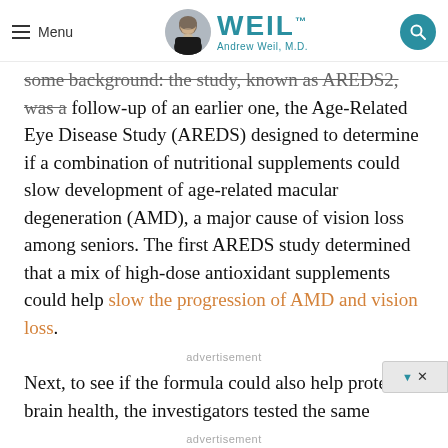Menu | WEIL™ Andrew Weil, M.D.
some background: the study, known as AREDS2, was a follow-up of an earlier one, the Age-Related Eye Disease Study (AREDS) designed to determine if a combination of nutritional supplements could slow development of age-related macular degeneration (AMD), a major cause of vision loss among seniors. The first AREDS study determined that a mix of high-dose antioxidant supplements could help slow the progression of AMD and vision loss.
advertisement
Next, to see if the formula could also help protect brain health, the investigators tested the same
advertisement